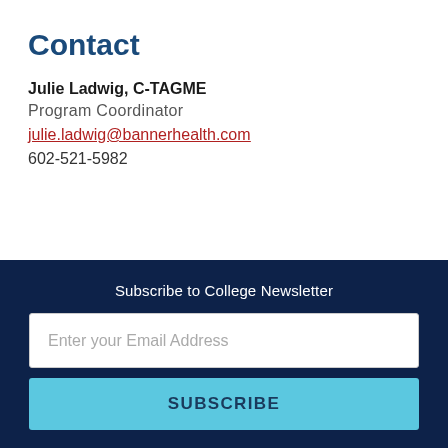Contact
Julie Ladwig, C-TAGME
Program Coordinator
julie.ladwig@bannerhealth.com
602-521-5982
Subscribe to College Newsletter
Enter your Email Address
SUBSCRIBE